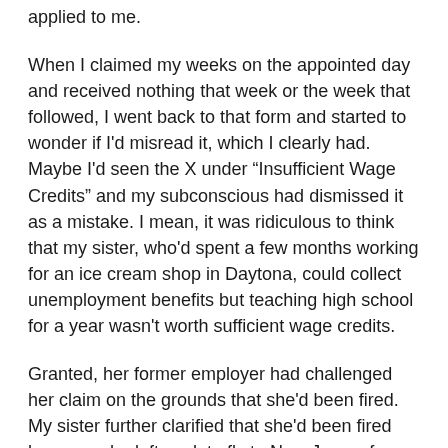applied to me.
When I claimed my weeks on the appointed day and received nothing that week or the week that followed, I went back to that form and started to wonder if I'd misread it, which I clearly had. Maybe I'd seen the X under “Insufficient Wage Credits” and my subconscious had dismissed it as a mistake. I mean, it was ridiculous to think that my sister, who'd spent a few months working for an ice cream shop in Daytona, could collect unemployment benefits but teaching high school for a year wasn't worth sufficient wage credits.
Granted, her former employer had challenged her claim on the grounds that she'd been fired. My sister further clarified that she'd been fired because she left work to fly to New Jersey for our aunt's funeral and the manager had refused to give her the time off. She was awarded the benefits.
I called the number furnished by the Agency for Workforce Innovation, who was apparently responsible for administrating the unemployment program, but kept getting busy signals. I checked the documentation provided on the